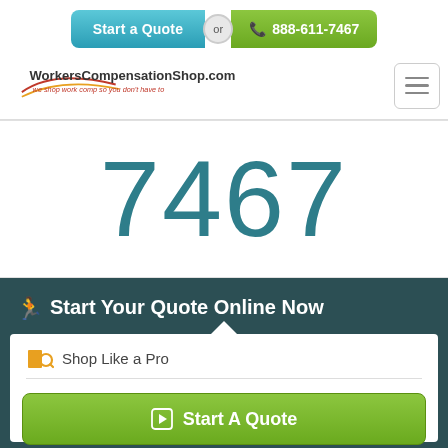[Figure (screenshot): Top navigation bar with 'Start a Quote' teal button, 'or' circle divider, and '888-611-7467' green phone button]
[Figure (logo): WorkersCompensationShop.com logo with swoosh and tagline 'we shop work comp so you don't have to']
7467
Start Your Quote Online Now
Shop Like a Pro
Start A Quote